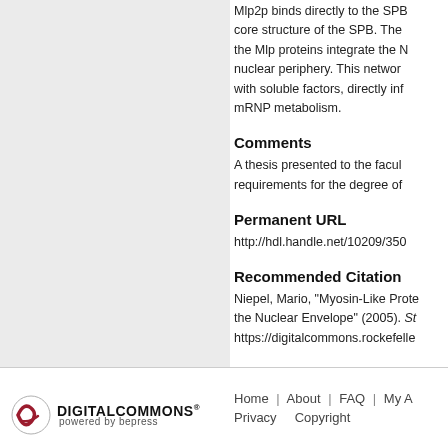Mlp2p binds directly to the SPB core structure of the SPB. The Mlp proteins integrate the N nuclear periphery. This network with soluble factors, directly inf mRNP metabolism.
Comments
A thesis presented to the facu requirements for the degree of
Permanent URL
http://hdl.handle.net/10209/350
Recommended Citation
Niepel, Mario, "Myosin-Like Prote the Nuclear Envelope" (2005). St https://digitalcommons.rockefelle
Home | About | FAQ | My A Privacy Copyright